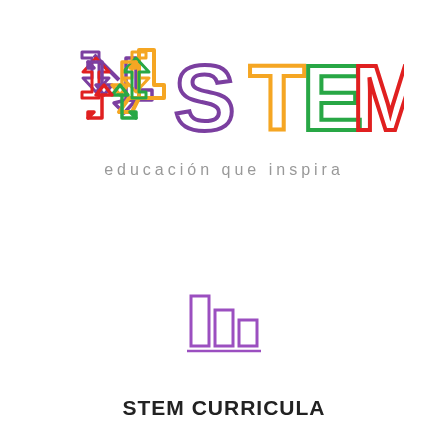[Figure (logo): XSTEM logo with colorful arrows/star symbol and large letters S T E M in purple, orange, green, and red outline style, with tagline 'educación que inspira' below]
[Figure (illustration): Bar chart icon in purple outline style with a horizontal underline, representing curricula or data]
STEM CURRICULA